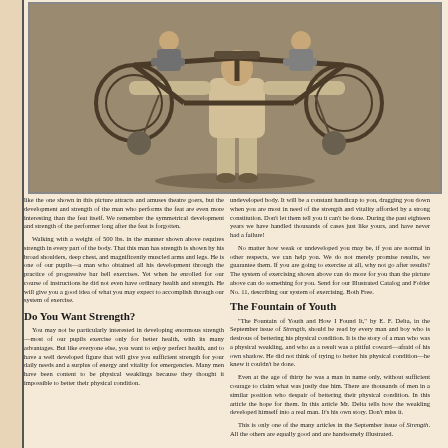[Figure (photo): Black and white photograph of a muscular strongman performing a feat of strength, holding up a bicycle with two riders on it, while balancing with weighted balls. The performer stands on a platform displaying impressive muscular development.]
like the one shown in this picture attracts and amuses theatre goers, but the development and strength of the man who performs the feat are even more interesting than the feat itself. We remember the symmetrical development and strength of the performer long after the feat is forgotten.
Walking with a weight of 500 lbs. in the manner shown above requires strength in every part of the body. That this man has strength is shown by his broad shoulders, deep chest, and magnificently muscled arms and legs. He is one of our pupils—a man who obtained all his development through the practice of progressive bar bell exercises. Yet when he enrolled for our course of instructions he did not even have ordinary health and strength. He will give you a good idea of what you may expect to accomplish through our system of exercise.
Do You Want Strength?
You may not be particularly interested in developing enormous strength—most of our pupils exercise only for better health, with its many advantages. But like everyone else, you want to enjoy perfect health, and to have a well developed figure that will give you sufficient strength for your daily needs and a surplus of energy and vitality for emergencies. Many men have been content to be physical weaklings because they thought it impossible to better their physical condition.
undeveloped body. It will be a constant handicap to you, dragging you down when you are most in need of the strength and vitality afforded by a strong constitution. Don't let them tell you it can't be done. During the past eighteen years we have handled thousands of cases just like yours, and have never had a failure!
No matter how weak or undeveloped you may be, if you are normal in other respects, we can help you. We do not merely promise results, we guarantee them. If you are going to exercise at all, why not go after results? The system of exercising shown above can do more for you than the picture above can do something for you. Send for our Illustrated Catalog and Folder No. 11, describing our system of exercising. Both Free.
The Fountain of Youth
"The Fountain of Youth and How I Found It," by E. F. Delta, in the September issue of Strength, should be read by every man and boy who is desirous of bettering his physical condition. It is the story of a man who was a physical weakling, and who as a result was a pitiful coward—afraid of his own shadow. He did not think of trying to better his physical condition—he knew it couldn't be done.
Even at the age of thirty he was a man in name only, without sufficient courage to claim what was justly due him. There are thousands of men in a similar position who despair of bettering their physical condition. In this article the hope for them. In this article Mr. Delta tells how the weakling developed himself into a real man. It's his own story. Don't miss it.
This is only one of the many articles in the September issue of Strength. All the others are equally good and are handsomely illustrated.